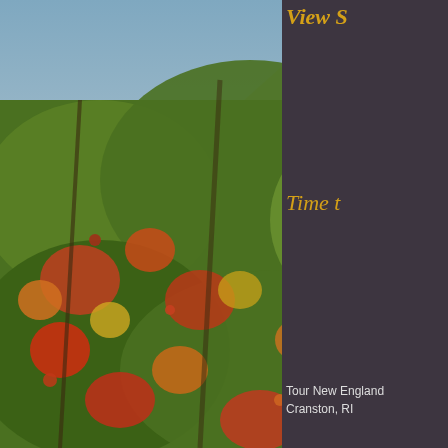[Figure (photo): Autumn foliage photo showing trees with red, orange, yellow and green leaves against a mountain backdrop with blue sky]
View S
Time t
Tour New England
Cranston, RI